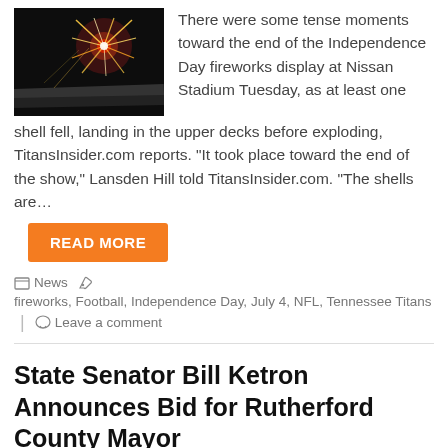[Figure (photo): Fireworks explosion at night, dark background with red and gold sparks]
There were some tense moments toward the end of the Independence Day fireworks display at Nissan Stadium Tuesday, as at least one shell fell, landing in the upper decks before exploding, TitansInsider.com reports. "It took place toward the end of the show," Lansden Hill told TitansInsider.com. "The shells are…
READ MORE
News   fireworks, Football, Independence Day, July 4, NFL, Tennessee Titans   Leave a comment
State Senator Bill Ketron Announces Bid for Rutherford County Mayor
July 3, 2017   Tina LaFleur
[Figure (photo): Portrait photo of State Senator Bill Ketron with building in background]
State Senator Bill Ketron (R-Murfreesboro) is running Rutherford County Mayor, the Daily News reports. It will be the f...